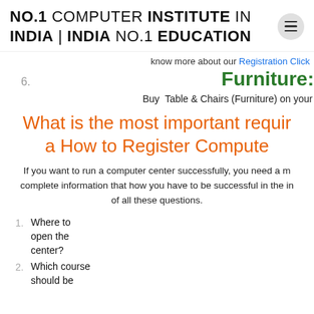NO.1 COMPUTER INSTITUTE IN INDIA | INDIA NO.1 EDUCATION
know more about our Registration Click
6. Furniture:
Buy Table & Chairs (Furniture) on your
What is the most important requir a How to Register Compute
If you want to run a computer center successfully, you need a m complete information that how you have to be successful in the in of all these questions.
1. Where to open the center?
2. Which course should be